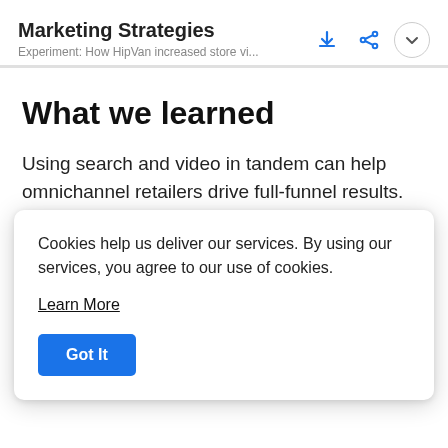Marketing Strategies
Experiment: How HipVan increased store vi...
What we learned
Using search and video in tandem can help omnichannel retailers drive full-funnel results. HipVan saw a 5X return on ad spend (ROAS) for its store visits, in-store sales conversions, and the value of individual transactions
Cookies help us deliver our services. By using our services, you agree to our use of cookies.

Learn More

Got It